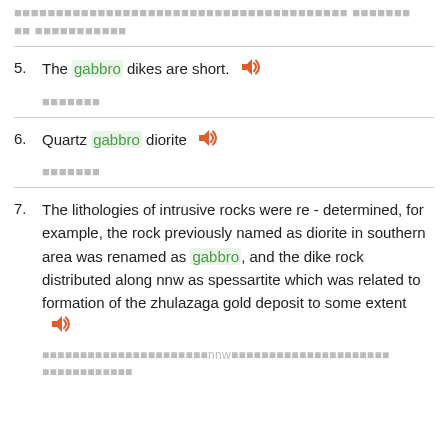[Chinese characters] [Chinese characters]
5. The gabbro dikes are short. 🔊
[Chinese characters]
6. Quartz gabbro diorite 🔊
[Chinese characters]
7. The lithologies of intrusive rocks were re - determined, for example, the rock previously named as diorite in southern area was renamed as gabbro, and the dike rock distributed along nnw as spessartite which was related to formation of the zhulazaga gold deposit to some extent 🔊
[Chinese characters]nnw[Chinese characters]